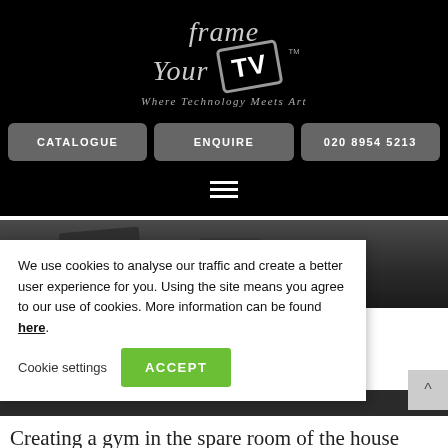[Figure (logo): Frame Your TV logo with stylized text, TV box icon, and tagline 'Where Technology Meets Art']
CATALOGUE   ENQUIRE   020 8954 5213
[Figure (illustration): Hamburger menu icon (three horizontal white lines on black background)]
[Figure (photo): Gym room photo showing equipment on a dark floor]
We use cookies to analyse our traffic and create a better user experience for you. Using the site means you agree to our use of cookies. More information can be found here.
Cookie settings   ACCEPT
Creating a gym in the spare room of the house